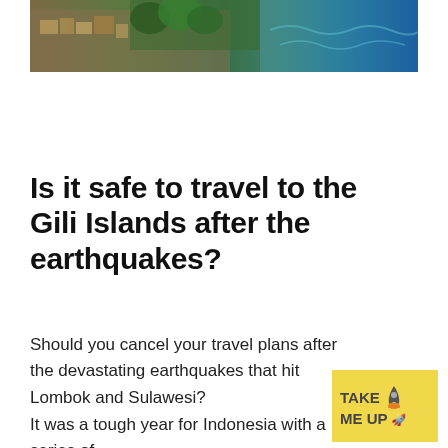[Figure (photo): Aerial view of a coastal area with buildings, green vegetation, and turquoise sea water, likely the Gili Islands or Indonesian coast]
Is it safe to travel to the Gili Islands after the earthquakes?
Should you cancel your travel plans after the devastating earthquakes that hit Lombok and Sulawesi?
It was a tough year for Indonesia with a series of
[Figure (logo): TAKE ME UP badge/logo with yellow background and rocket icon]